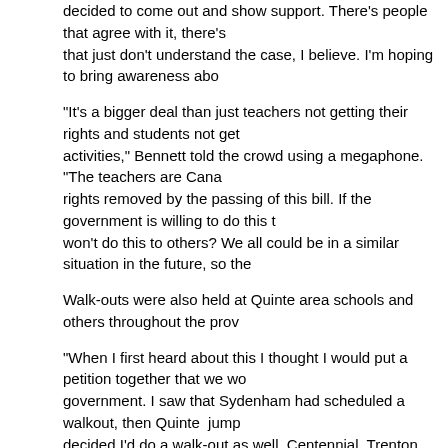decided to come out and show support. There's people that agree with it, there's that just don't understand the case, I believe. I'm hoping to bring awareness abo
“It’s a bigger deal than just teachers not getting their rights and students not get activities,” Bennett told the crowd using a megaphone. “The teachers are Cana rights removed by the passing of this bill. If the government is willing to do this t won’t do this to others? We all could be in a similar situation in the future, so the
Walk-outs were also held at Quinte area schools and others throughout the prov
“When I first heard about this I thought I would put a petition together that we wo government. I saw that Sydenham had scheduled a walkout, then Quinte  jump decided I’d do a walk-out as well. Centennial, Trenton High and Quinte Seconda right now.”
Bennett said she had always wanted to be a teacher “but now I thought if I have
Sarah Michelle posted to the group that she was “surprised some students think salaries and McGuinty trying to lower taxes. Teachers would accept pay cuts, bu unacceptable. All workers need the right to strike and collectively bargain in ord work environments. Whatever your opinion may be of your teachers, they really should be supporting them.”
Hannah Louise Smith shared her view: